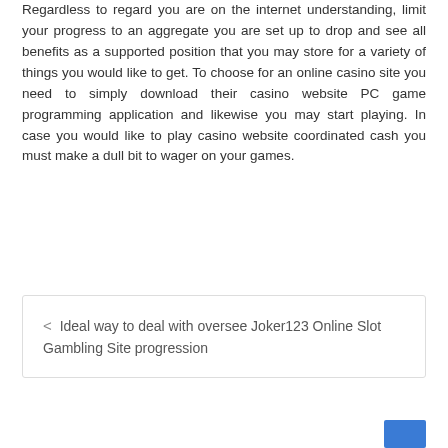Regardless to regard you are on the internet understanding, limit your progress to an aggregate you are set up to drop and see all benefits as a supported position that you may store for a variety of things you would like to get. To choose for an online casino site you need to simply download their casino website PC game programming application and likewise you may start playing. In case you would like to play casino website coordinated cash you must make a dull bit to wager on your games.
< Ideal way to deal with oversee Joker123 Online Slot Gambling Site progression